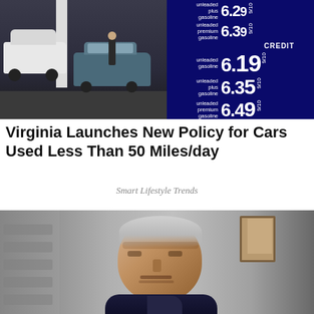[Figure (photo): Gas station photo showing cars being fueled, with a large blue price sign on the right displaying unleaded plus gasoline 6.29, unleaded premium gasoline 6.39, CREDIT section showing unleaded gasoline 6.19, unleaded plus gasoline 6.35, unleaded premium gasoline 6.49]
Virginia Launches New Policy for Cars Used Less Than 50 Miles/day
Smart Lifestyle Trends
[Figure (photo): Portrait photo of an elderly man with white/gray hair, wrinkled face, wearing a dark navy blue jacket, with a blurred gray background and a framed picture visible behind him]